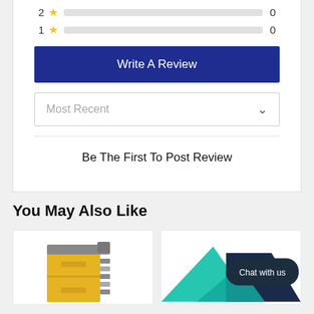[Figure (infographic): 2 star rating row with gold star and empty gray bar showing 0 count]
[Figure (infographic): 1 star rating row with gold star and empty gray bar showing 0 count]
Write A Review
Most Recent
Be The First To Post Review
You May Also Like
[Figure (illustration): Zip file / archive drawer icon in yellow and gray]
[Figure (illustration): Chat with us speech bubble illustration with teal and navy geometric shapes and dark bubble with text 'Chat with us']